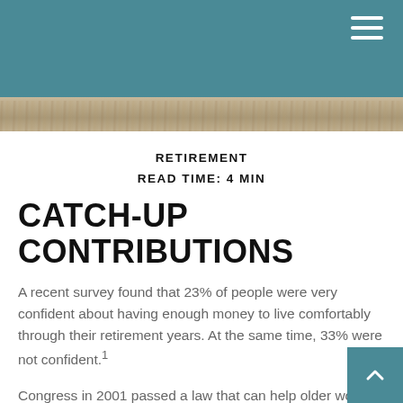RETIREMENT
READ TIME: 4 MIN
CATCH-UP CONTRIBUTIONS
A recent survey found that 23% of people were very confident about having enough money to live comfortably through their retirement years. At the same time, 33% were not confident.1
Congress in 2001 passed a law that can help older workers make up for lost time. But few may understand how this generous offer can add up over time.2